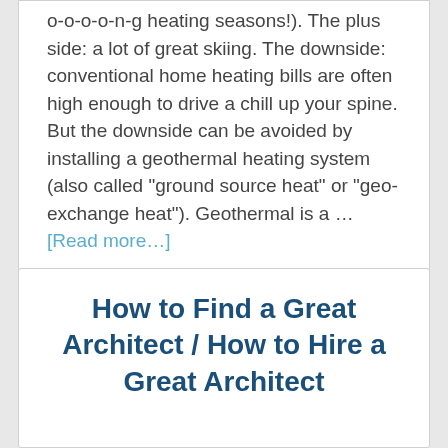o-o-o-o-n-g heating seasons!). The plus side: a lot of great skiing. The downside: conventional home heating bills are often high enough to drive a chill up your spine. But the downside can be avoided by installing a geothermal heating system (also called "ground source heat" or "geo-exchange heat"). Geothermal is a ... [Read more...]
How to Find a Great Architect / How to Hire a Great Architect